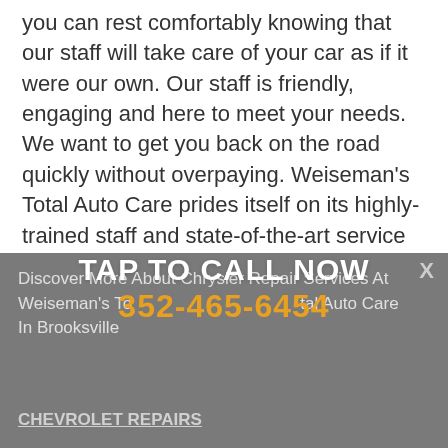you can rest comfortably knowing that our staff will take care of your car as if it were our own. Our staff is friendly, engaging and here to meet your needs. We want to get you back on the road quickly without overpaying. Weiseman's Total Auto Care prides itself on its highly- trained staff and state-of-the-art service center that is waiting to take care of your Chrysler vehicle. You can call us today at 352-465-6454 or stop by our service center to schedule an appointment.
Discover More About Chrysler Repair Services At Weiseman's Total Auto Care In Brooksville
TAP TO CALL NOW
352-465-6454
X
CHEVROLET REPAIRS